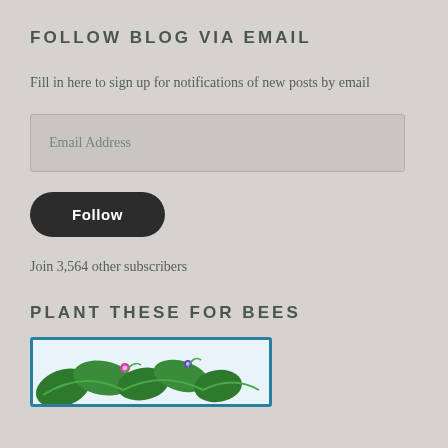FOLLOW BLOG VIA EMAIL
Fill in here to sign up for notifications of new posts by email
[Figure (other): Email address input field with placeholder text 'Email Address']
[Figure (other): Dark rounded 'Follow' button]
Join 3,564 other subscribers
PLANT THESE FOR BEES
[Figure (illustration): Partial illustration showing green leaves and vines with small flowers, bordered in teal/blue]